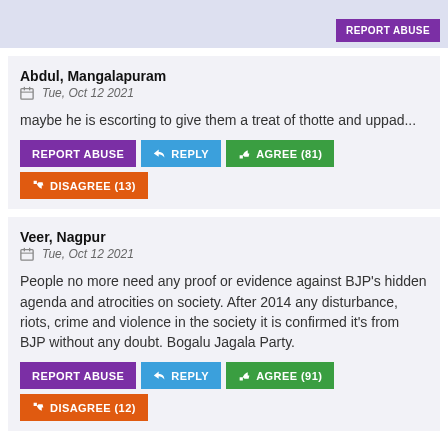REPORT ABUSE (partial top strip)
Abdul, Mangalapuram
Tue, Oct 12 2021
maybe he is escorting to give them a treat of thotte and uppad...
REPORT ABUSE  REPLY  AGREE (81)  DISAGREE (13)
Veer, Nagpur
Tue, Oct 12 2021
People no more need any proof or evidence against BJP's hidden agenda and atrocities on society. After 2014 any disturbance, riots, crime and violence in the society it is confirmed it's from BJP without any doubt. Bogalu Jagala Party.
REPORT ABUSE  REPLY  AGREE (91)  DISAGREE (12)
LEAVE A COMMENT
Title: Mangaluru: Photos of BJP MLA escorting moral policing accused go viral, Congress livid